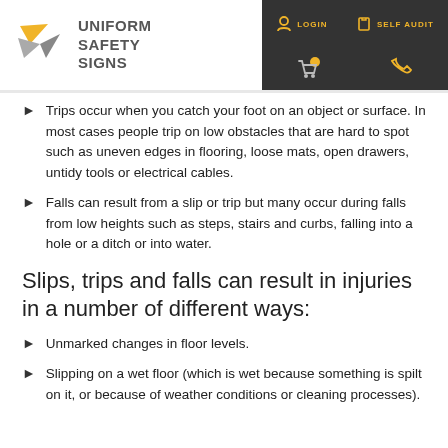[Figure (logo): Uniform Safety Signs logo with yellow and grey bird/arrow icon and grey text]
LOGIN   SELF AUDIT
Trips occur when you catch your foot on an object or surface. In most cases people trip on low obstacles that are hard to spot such as uneven edges in flooring, loose mats, open drawers, untidy tools or electrical cables.
Falls can result from a slip or trip but many occur during falls from low heights such as steps, stairs and curbs, falling into a hole or a ditch or into water.
Slips, trips and falls can result in injuries in a number of different ways:
Unmarked changes in floor levels.
Slipping on a wet floor (which is wet because something is spilt on it, or because of weather conditions or cleaning processes).